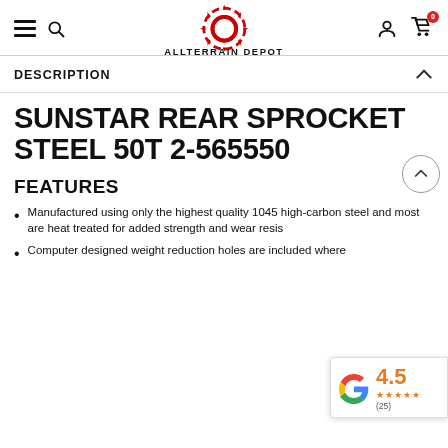ALLTERRAIN DEPOT
DESCRIPTION
SUNSTAR REAR SPROCKET STEEL 50T 2-565550
FEATURES
Manufactured using only the highest quality 1045 high-carbon steel and most are heat treated for added strength and wear resistance
Computer designed weight reduction holes are included where